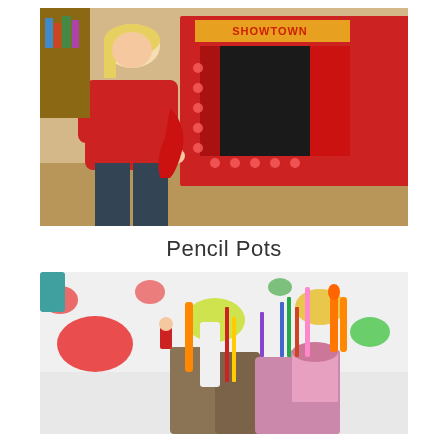[Figure (photo): A young blonde girl in a red sweater and dark jeans stands behind a homemade cardboard puppet theatre decorated with red polka dots and the word 'SHOWTOWN' at the top, with a red curtain hanging inside the frame.]
Pencil Pots
[Figure (photo): A close-up photo of several pencil pots or cups holding pencils, scissors (orange handled), markers, and other stationery items, on a white surface with large colorful polka dots (red, green, orange, yellow) in the background.]